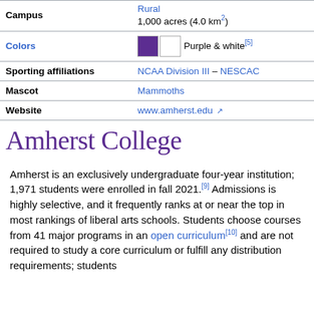| Field | Value |
| --- | --- |
| Campus | Rural
1,000 acres (4.0 km²) |
| Colors | Purple & white[5] |
| Sporting affiliations | NCAA Division III – NESCAC |
| Mascot | Mammoths |
| Website | www.amherst.edu |
|  | Amherst College |
Amherst is an exclusively undergraduate four-year institution; 1,971 students were enrolled in fall 2021.[9] Admissions is highly selective, and it frequently ranks at or near the top in most rankings of liberal arts schools. Students choose courses from 41 major programs in an open curriculum[10] and are not required to study a core curriculum or fulfill any distribution requirements; students